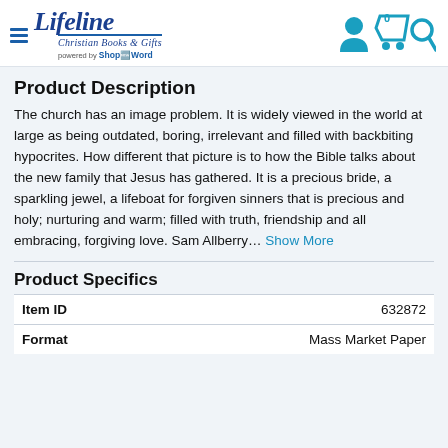[Figure (logo): Lifeline Christian Books & Gifts logo with hamburger menu icon and 'powered by ShopByWord' text, plus user/cart/search icons on the right]
Product Description
The church has an image problem. It is widely viewed in the world at large as being outdated, boring, irrelevant and filled with backbiting hypocrites. How different that picture is to how the Bible talks about the new family that Jesus has gathered. It is a precious bride, a sparkling jewel, a lifeboat for forgiven sinners that is precious and holy; nurturing and warm; filled with truth, friendship and all embracing, forgiving love. Sam Allberry… Show More
Product Specifics
|  |  |
| --- | --- |
| Item ID | 632872 |
| Format | Mass Market Paper |